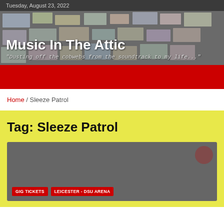Tuesday, August 23, 2022
Music In The Attic
"Dusting off the cobwebs from the soundtrack to my life..."
Home / Sleeze Patrol
Tag: Sleeze Patrol
[Figure (photo): Dark grey card image with a faint reddish circle in top-right corner and two red tag buttons at the bottom reading GIG TICKETS and LEICESTER - DSU ARENA]
GIG TICKETS
LEICESTER - DSU ARENA